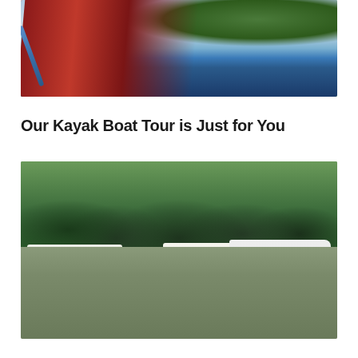[Figure (photo): People paddling red canoes/kayaks on a river with green hills in the background]
Our Kayak Boat Tour is Just for You
[Figure (photo): A campsite with multiple white caravans/trailers parked in front of a dense green forest]